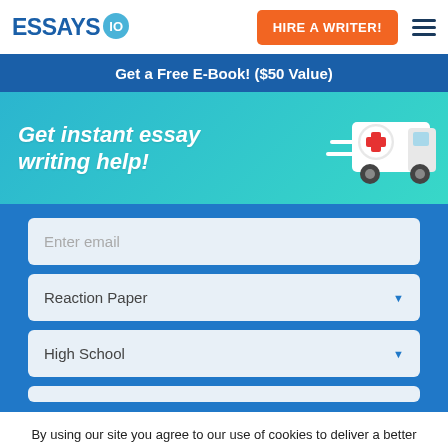[Figure (logo): Essays.io logo with teal circle badge]
HIRE A WRITER!
[Figure (infographic): Hamburger menu icon with three horizontal lines]
Get a Free E-Book! ($50 Value)
[Figure (illustration): Teal gradient banner with italic text 'Get instant essay writing help!' and a delivery truck illustration]
Enter email
Reaction Paper
High School
By using our site you agree to our use of cookies to deliver a better site experience. Learn more
GOT IT